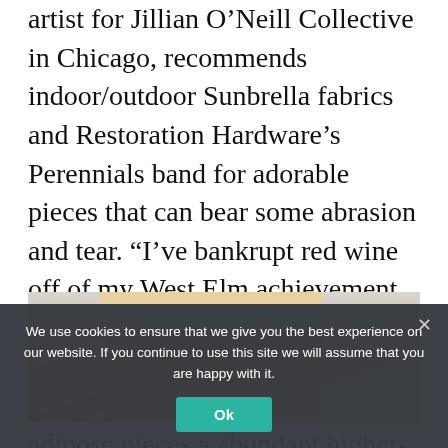artist for Jillian O'Neill Collective in Chicago, recommends indoor/outdoor Sunbrella fabrics and Restoration Hardware's Perennials band for adorable pieces that can bear some abrasion and tear. “I’ve bankrupt red wine off of my West Elm achievement clover hinge chairs with a babyish wipe,” she says. “These fabrics are acutely abiding and accord adipose pieces a abundant higher-end attending than the old microfibers.”
[Figure (photo): Partial view of wooden kitchen cabinets with decorative molding, ceiling visible above]
We use cookies to ensure that we give you the best experience on our website. If you continue to use this site we will assume that you are happy with it.